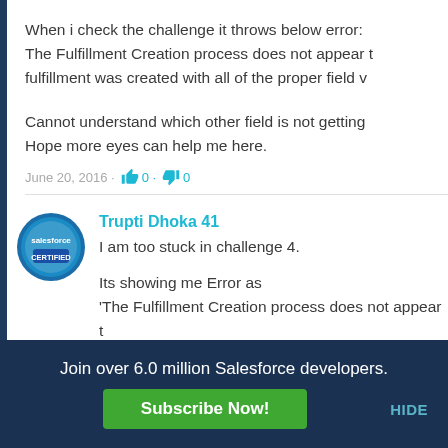When i check the challenge it throws below error: The Fulfillment Creation process does not appear t fulfillment was created with all of the proper field v
Cannot understand which other field is not getting Hope more eyes can help me here.
June 20, 2016 · 👍 0 · 👎 0
Trupti Dhoka 41
I am too stuck in challenge 4.

Its showing me Error as
'The Fulfillment Creation process does not appear t fulfillment was created with all of the proper field v
Join over 6.0 million Salesforce developers.
Subscribe Now!
HIDE